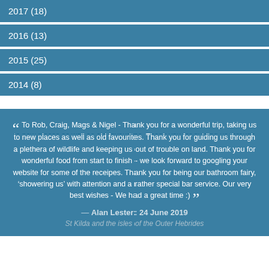2017 (18)
2016 (13)
2015 (25)
2014 (8)
To Rob, Craig, Mags & Nigel - Thank you for a wonderful trip, taking us to new places as well as old favourites. Thank you for guiding us through a plethera of wildlife and keeping us out of trouble on land. Thank you for wonderful food from start to finish - we look forward to googling your website for some of the receipes. Thank you for being our bathroom fairy, 'showering us' with attention and a rather special bar service. Our very best wishes - We had a great time :)
— Alan Lester: 24 June 2019
St Kilda and the isles of the Outer Hebrides